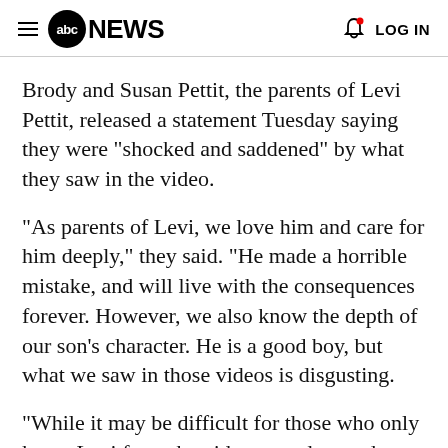abc NEWS  LOG IN
Brody and Susan Pettit, the parents of Levi Pettit, released a statement Tuesday saying they were "shocked and saddened" by what they saw in the video.
"As parents of Levi, we love him and care for him deeply," they said. "He made a horrible mistake, and will live with the consequences forever. However, we also know the depth of our son's character. He is a good boy, but what we saw in those videos is disgusting.
"While it may be difficult for those who only know Levi from the video to understand, we